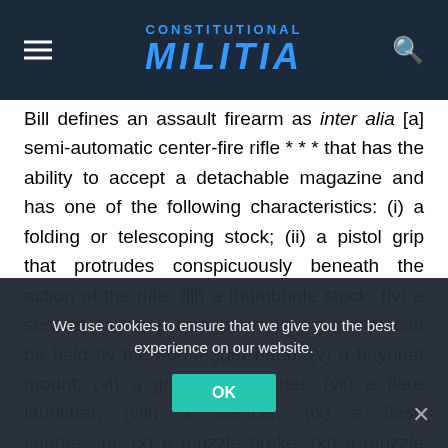CONSTITUTIONAL MILITIA
Bill defines an assault firearm as inter alia [a] semi-automatic center-fire rifle * * * that has the ability to accept a detachable magazine and has one of the following characteristics: (i) a folding or telescoping stock; (ii) a pistol grip that protrudes conspicuously beneath the action of the rifle; (iii) a thumbhole stock; (iv) a second handgrip or a protruding grip that can be held by the non-trigger hand; (v) a bayonet mount; (vi) a grenade launcher; (vii) a flare launcher; (viii) a silencer; (ix) a flash suppressor; (x) a muzzle brake; (xi) a muzzle compensator; (xii) a threaded barrel capable of accepting (a) a silencer; (b) a flash suppressor; (c) a muzzle brake; or (d) a muzzle compensator; or (xiii) any
We use cookies to ensure that we give you the best experience on our website.